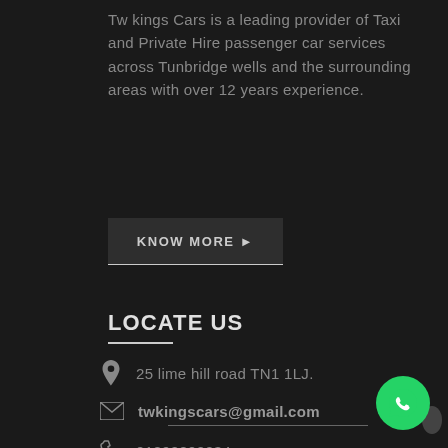Tw kings Cars is a leading provider of Taxi and Private Hire passenger car services across Tunbridge wells and the surrounding areas with over 12 years experience.
Know More ▶
LOCATE US
25 lime hill road TN1 1LJ.
twkingscars@gmail.com
01892800234
07741041293